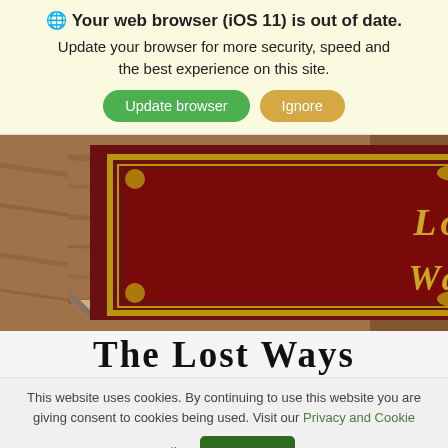🌐 Your web browser (iOS 11) is out of date. Update your browser for more security, speed and the best experience on this site.
[Figure (screenshot): Browser update notification banner with Update browser (green) and Ignore (tan) buttons on a light yellow background]
[Figure (photo): A vintage-looking dark red book titled 'Lost Ways' with gold decorative border and lettering, lying on a wooden surface]
The Lost Ways
This website uses cookies. By continuing to use this website you are giving consent to cookies being used. Visit our Privacy and Cookie Policy.
I Agree